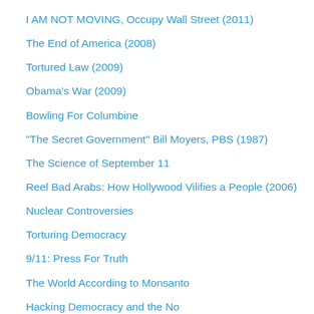I AM NOT MOVING, Occupy Wall Street (2011)
The End of America (2008)
Tortured Law (2009)
Obama's War (2009)
Bowling For Columbine
"The Secret Government" Bill Moyers, PBS (1987)
The Science of September 11
Reel Bad Arabs: How Hollywood Vilifies a People (2006)
Nuclear Controversies
Torturing Democracy
9/11: Press For Truth
The World According to Monsanto
Hacking Democracy (partial text visible)